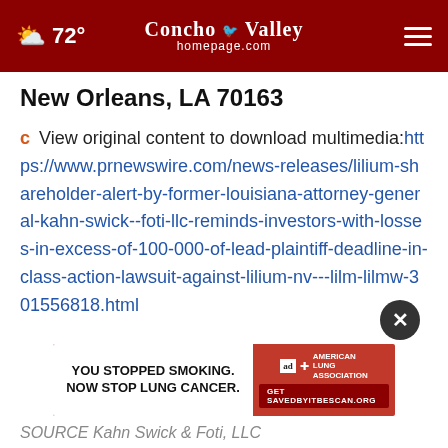72° Concho Valley homepage.com
New Orleans, LA 70163
View original content to download multimedia: https://www.prnewswire.com/news-releases/lilium-shareholder-alert-by-former-louisiana-attorney-general-kahn-swick--foti-llc-reminds-investors-with-losses-in-excess-of-100-000-of-lead-plaintiff-deadline-in-class-action-lawsuit-against-lilium-nv---lilm-lilmw-301556818.html
[Figure (screenshot): Advertisement banner: YOU STOPPED SMOKING. NOW STOP LUNG CANCER. American Lung Association. Get SAVEDBYITBESCAN.ORG]
SOURCE Kahn Swick & Foti, LLC